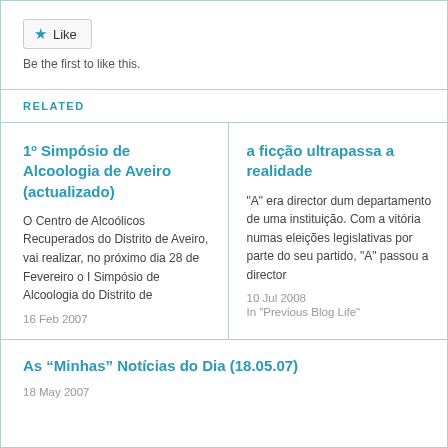[Figure (other): Like button with star icon]
Be the first to like this.
RELATED
1º Simpósio de Alcoologia de Aveiro (actualizado)
O Centro de Alcoólicos Recuperados do Distrito de Aveiro, vai realizar, no próximo dia 28 de Fevereiro o I Simpósio de Alcoologia do Distrito de
16 Feb 2007
a ficção ultrapassa a realidade
"A" era director dum departamento de uma instituição. Com a vitória numas eleições legislativas por parte do seu partido, "A" passou a director
10 Jul 2008
In "Previous Blog Life"
As “Minhas” Notícias do Dia (18.05.07)
18 May 2007